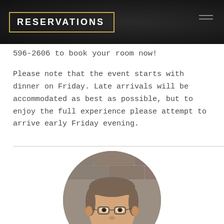RESERVATIONS
596-2606 to book your room now!
Please note that the event starts with dinner on Friday. Late arrivals will be accommodated as best as possible, but to enjoy the full experience please attempt to arrive early Friday evening.
[Figure (photo): Circular headshot photo of a middle-aged man with glasses, short brown/grey hair, wearing a red shirt, smiling, with a stone wall background.]